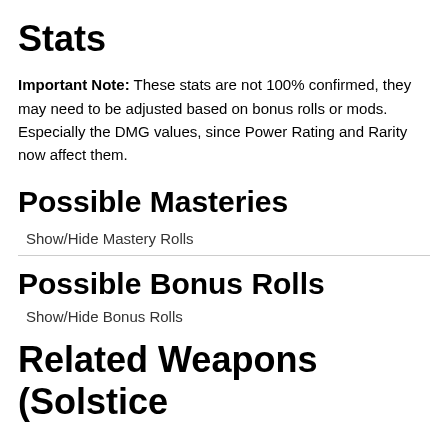Stats
Important Note: These stats are not 100% confirmed, they may need to be adjusted based on bonus rolls or mods. Especially the DMG values, since Power Rating and Rarity now affect them.
Possible Masteries
Show/Hide Mastery Rolls
Possible Bonus Rolls
Show/Hide Bonus Rolls
Related Weapons (Solstice